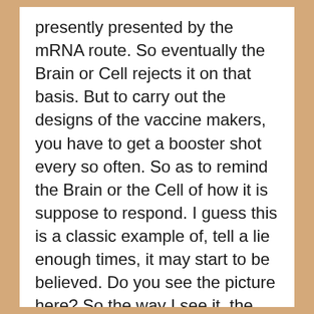presently presented by the mRNA route. So eventually the Brain or Cell rejects it on that basis. But to carry out the designs of the vaccine makers, you have to get a booster shot every so often. So as to remind the Brain or the Cell of how it is suppose to respond. I guess this is a classic example of, tell a lie enough times, it may start to be believed. Do you see the picture here? So the way I see it, the whole thing is based on a lie and taking advantage of some known technologies, such as the process of many of the Herbicides as well as Psychological Manipulation. In the end, Nature will always win out. But there are other types of vaccines. As far as vaccines go, several of them work from the perspective of how a typical